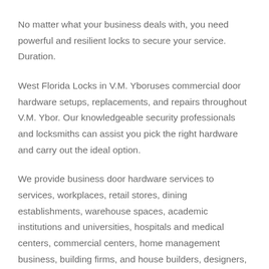No matter what your business deals with, you need powerful and resilient locks to secure your service. Duration.
West Florida Locks in V.M. Yboruses commercial door hardware setups, replacements, and repairs throughout V.M. Ybor. Our knowledgeable security professionals and locksmiths can assist you pick the right hardware and carry out the ideal option.
We provide business door hardware services to services, workplaces, retail stores, dining establishments, warehouse spaces, academic institutions and universities, hospitals and medical centers, commercial centers, home management business, building firms, and house builders, designers, and far more.
West Florida Locks serving V.M. Yboris a professional...